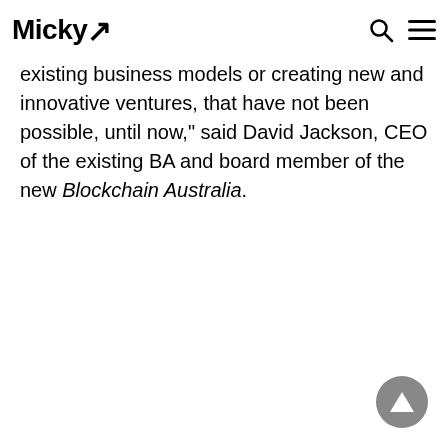Micky
existing business models or creating new and innovative ventures, that have not been possible, until now," said David Jackson, CEO of the existing BA and board member of the new Blockchain Australia.